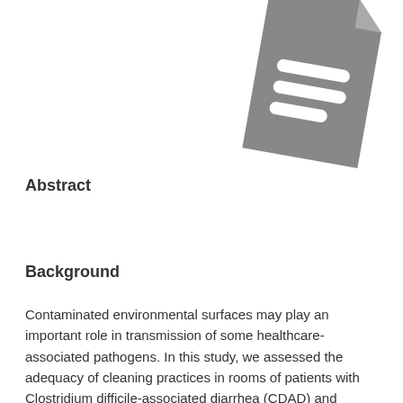[Figure (illustration): Gray document/file icon with lines representing text, positioned in upper right corner, slightly rotated]
Abstract
Background
Contaminated environmental surfaces may play an important role in transmission of some healthcare-associated pathogens. In this study, we assessed the adequacy of cleaning practices in rooms of patients with Clostridium difficile-associated diarrhea (CDAD) and vancomycin-resistant Enterococcus (VRE) colonization or infection and examined whether an intervention would result in improved